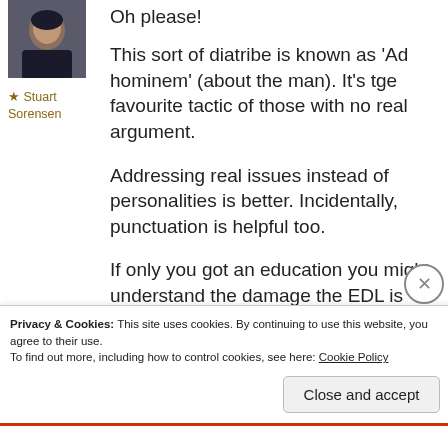[Figure (photo): Avatar photo of a man in a dark shirt]
★ Stuart Sorensen
Oh please!
This sort of diatribe is known as 'Ad hominem' (about the man). It's tge favourite tactic of those with no real argument.
Addressing real issues instead of personalities is better. Incidentally, punctuation is helpful too.
If only you got an education you might understand the damage the EDL is doing
Privacy & Cookies: This site uses cookies. By continuing to use this website, you agree to their use.
To find out more, including how to control cookies, see here: Cookie Policy
Close and accept